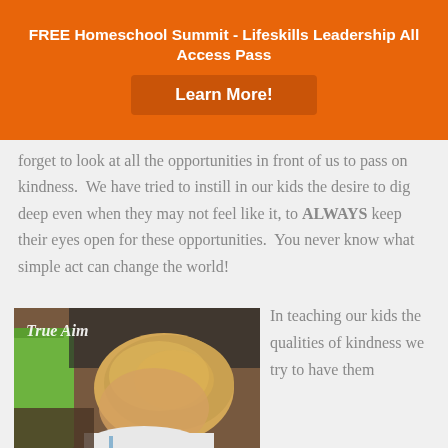FREE Homeschool Summit - Lifeskills Leadership All Access Pass
Learn More!
forget to look at all the opportunities in front of us to pass on kindness.  We have tried to instill in our kids the desire to dig deep even when they may not feel like it, to ALWAYS keep their eyes open for these opportunities.  You never know what simple act can change the world!
[Figure (photo): Young blonde toddler looking down, seated near a green chair, with 'True Aim' text overlay in top-left corner]
In teaching our kids the qualities of kindness we try to have them